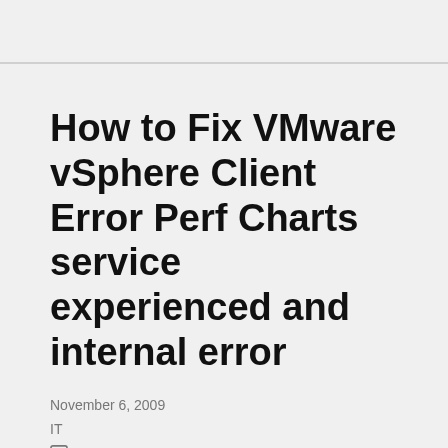How to Fix VMware vSphere Client Error Perf Charts service experienced and internal error
November 6, 2009
IT
14 Comments
I just upgraded my Virtual Center to vCenter 4 and I am using vSphere to connect to the vCenter. Everything looks